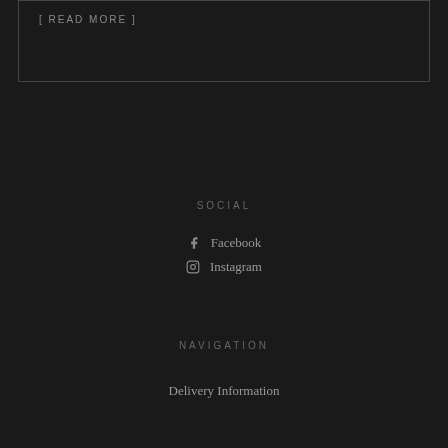[ READ MORE ]
SOCIAL
Facebook
Instagram
NAVIGATION
Delivery Information